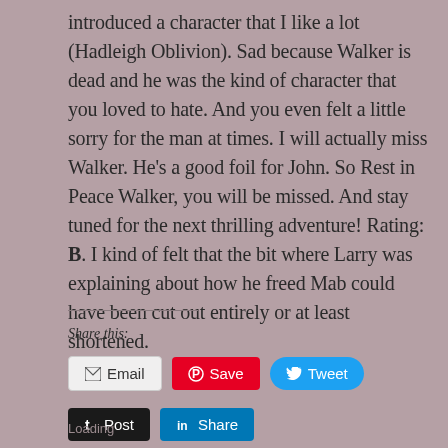introduced a character that I like a lot (Hadleigh Oblivion). Sad because Walker is dead and he was the kind of character that you loved to hate. And you even felt a little sorry for the man at times. I will actually miss Walker. He's a good foil for John. So Rest in Peace Walker, you will be missed. And stay tuned for the next thrilling adventure! Rating: B. I kind of felt that the bit where Larry was explaining about how he freed Mab could have been cut out entirely or at least shortened.
Share this:
Email
Save
Tweet
Post
Share
Loading